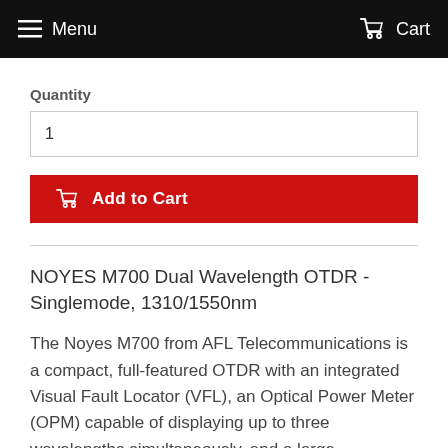Menu   Cart
Quantity
1
Add to Cart
NOYES M700 Dual Wavelength OTDR - Singlemode, 1310/1550nm
The Noyes M700 from AFL Telecommunications is a compact, full-featured OTDR with an integrated Visual Fault Locator (VFL), an Optical Power Meter (OPM) capable of displaying up to three wavelengths simultaneously, and a large transflective touch screen